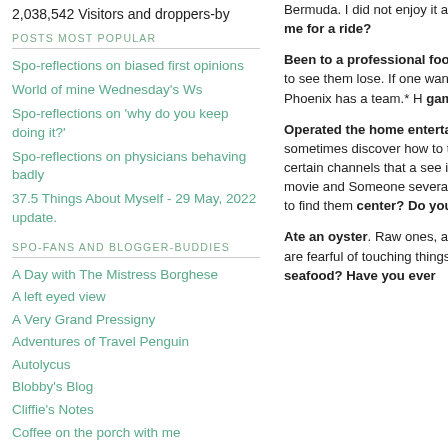2,038,542 Visitors and droppers-by
POSTS MOST POPULAR
Spo-reflections on biased first opinions
World of mine Wednesday's Ws
Spo-reflections on 'why do you keep doing it?'
Spo-reflections on physicians behaving badly
37.5 Things About Myself - 29 May, 2022 update.
SPO-FANS AND BLOGGER-BUDDIES
A Day with The Mistress Borghese
A left eyed view
A Very Grand Pressigny
Adventures of Travel Penguin
Autolycus
Blobby's Blog
Cliffie's Notes
Coffee on the porch with me
Corporate Slave
Culinary Adventures with Lori
Bermuda. I did not enjoy it and I proba... an alarmingly slow velocity. Do you ow... you take me for a ride?
Been to a professional football game... my father referred to as 'The Pussycats'... house to see them lose. If one wanted... which. I am open to attending a pro-foo... cannot recall if Phoenix has a team.* H... game? Who is your team?
Operated the home entertainment sy... even more in the cupboard. Why we ha... than I sometimes discover how to turn... but I don't watch TV other than when S... subscriptions to certain channels that a... see is seldom available. Asking for som... sketch: I propose a movie and Someone... several movies, apropos for the season... reasonable attorneys fees to find them... center? Do you know how to use it,
Ate an oyster. Raw ones, anyway. Ha... the lifespan of parasites I will not eat a... people are fearful of touching things ou... raw seafood. I am certain I've had fried... you eat raw seafood? Have you ever...